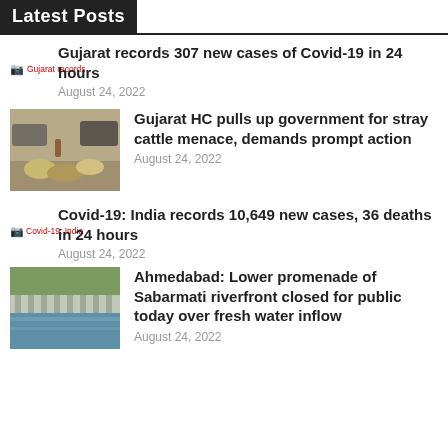Latest Posts
Gujarat records 307 new cases of Covid-19 in 24 hours
August 24, 2022
Gujarat HC pulls up government for stray cattle menace, demands prompt action
August 24, 2022
Covid-19: India records 10,649 new cases, 36 deaths in 24 hours
August 24, 2022
Ahmedabad: Lower promenade of Sabarmati riverfront closed for public today over fresh water inflow
August 24, 2022